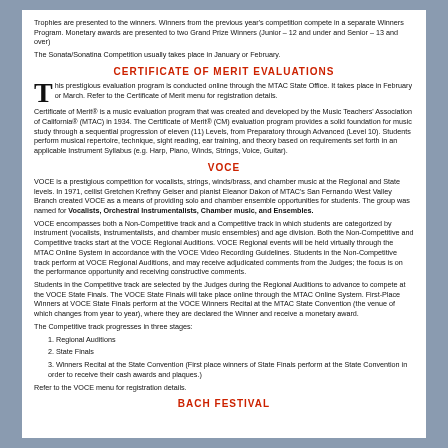Trophies are presented to the winners. Winners from the previous year's competition compete in a separate Winners Program. Monetary awards are presented to two Grand Prize Winners (Junior – 12 and under and Senior – 13 and over)
The Sonata/Sonatina Competition usually takes place in January or February.
CERTIFICATE OF MERIT EVALUATIONS
This prestigious evaluation program is conducted online through the MTAC State Office. It takes place in February or March. Refer to the Certificate of Merit menu for registration details.
Certificate of Merit® is a music evaluation program that was created and developed by the Music Teachers' Association of California® (MTAC) in 1934. The Certificate of Merit® (CM) evaluation program provides a solid foundation for music study through a sequential progression of eleven (11) Levels, from Preparatory through Advanced (Level 10). Students perform musical repertoire, technique, sight reading, ear training, and theory based on requirements set forth in an applicable Instrument Syllabus (e.g. Harp, Piano, Winds, Strings, Voice, Guitar).
VOCE
VOCE is a prestigious competition for vocalists, strings, winds/brass, and chamber music at the Regional and State levels. In 1971, cellist Gretchen Krefhny Geiser and pianist Eleanor Dakon of MTAC's San Fernando West Valley Branch created VOCE as a means of providing solo and chamber ensemble opportunities for students. The group was named for Vocalists, Orchestral Instrumentalists, Chamber music, and Ensembles.
VOCE encompasses both a Non-Competitive track and a Competitive track in which students are categorized by instrument (vocalists, instrumentalists, and chamber music ensembles) and age division. Both the Non-Competitive and Competitive tracks start at the VOCE Regional Auditions. VOCE Regional events will be held virtually through the MTAC Online System in accordance with the VOCE Video Recording Guidelines. Students in the Non-Competitive track perform at VOCE Regional Auditions, and may receive adjudicated comments from the Judges; the focus is on the performance opportunity and receiving constructive comments.
Students in the Competitive track are selected by the Judges during the Regional Auditions to advance to compete at the VOCE State Finals. The VOCE State Finals will take place online through the MTAC Online System. First-Place Winners at VOCE State Finals perform at the VOCE Winners Recital at the MTAC State Convention (the venue of which changes from year to year), where they are declared the Winner and receive a monetary award.
The Competitive track progresses in three stages:
1. Regional Auditions
2. State Finals
3. Winners Recital at the State Convention (First place winners of State Finals perform at the State Convention in order to receive their cash awards and plaques.)
Refer to the VOCE menu for registration details.
BACH FESTIVAL